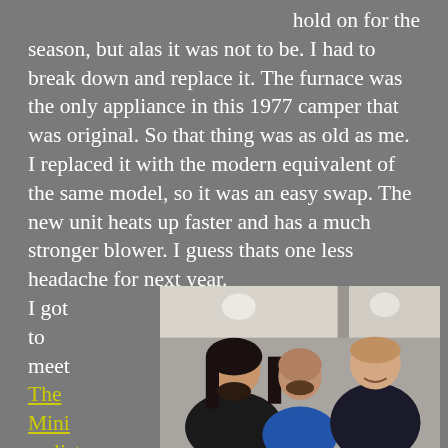hold on for the season, but alas it was not to be. I had to break down and replace it. The furnace was the only appliance in this 1977 camper that was original. So that thing was as old as me. I replaced it with the modern equivalent of the same model, so it was an easy swap. The new unit heats up faster and has a much stronger blower. I guess thats one less headache for next year.
I got to meet The Minimalist
[Figure (photo): Three men standing together indoors, smiling for a photo. The man on the left has long dark hair and a beard, wearing a black t-shirt. The man in the middle is shorter with a beard, wearing a blue shirt. The man on the right is taller with short hair, wearing a dark long-sleeve shirt. Background shows interior walls and windows with light.]